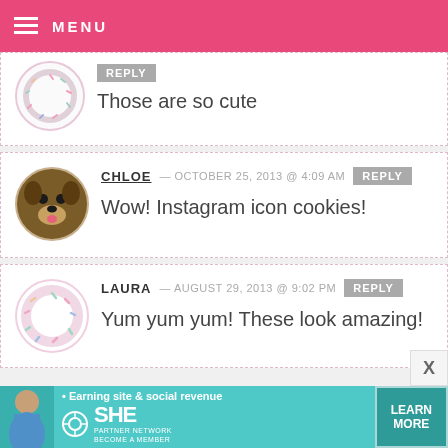MENU
REPLY
Those are so cute
CHLOE — OCTOBER 25, 2013 @ 4:09 AM   REPLY
Wow! Instagram icon cookies!
LAURA — AUGUST 29, 2013 @ 9:02 PM   REPLY
Yum yum yum! These look amazing!
[Figure (infographic): SHE Partner Network advertisement banner with a woman, bullet point 'Earning site & social revenue', SHE logo, PARTNER NETWORK, BECOME A MEMBER, and LEARN MORE button]